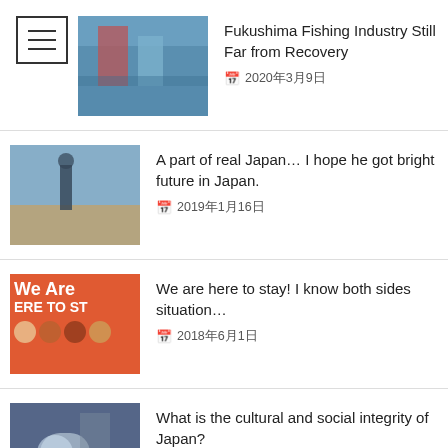Fukushima Fishing Industry Still Far from Recovery
A part of real Japan… I hope he got bright future in Japan.
We are here to stay! I know both sides situation…
What is the cultural and social integrity of Japan?
Developed country Japan is " Out of date……"